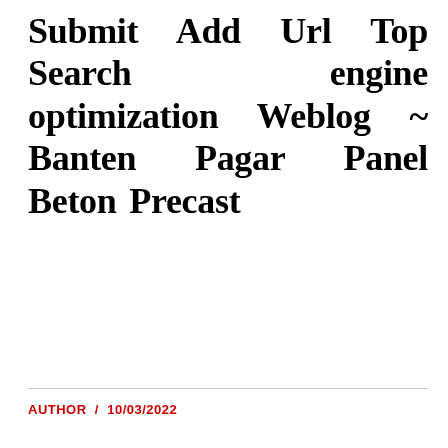Submit Add Url Top Search engine optimization Weblog ~ Banten Pagar Panel Beton Precast
AUTHOR / 10/03/2022
[Figure (photo): Two overlapping polaroid-style photo placeholders showing grey/dark grey rectangles]
Along with sure guarantees offered by law, LegalZoom guarantees your satisfaction with our providers and